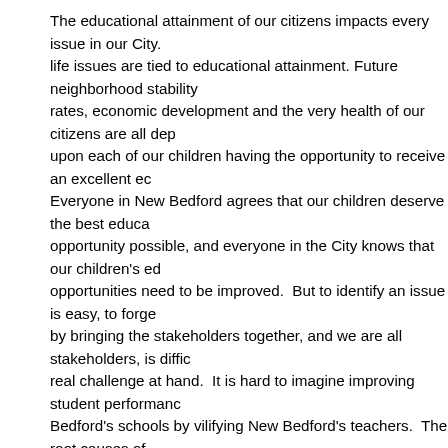The educational attainment of our citizens impacts every issue in our City. life issues are tied to educational attainment. Future neighborhood stability rates, economic development and the very health of our citizens are all dep upon each of our children having the opportunity to receive an excellent ec Everyone in New Bedford agrees that our children deserve the best educa opportunity possible, and everyone in the City knows that our children's ed opportunities need to be improved.  But to identify an issue is easy, to forg by bringing the stakeholders together, and we are all stakeholders, is diffic real challenge at hand.  It is hard to imagine improving student performanc Bedford's schools by vilifying New Bedford's teachers.  The root causes of educational failures will not be addressed by replacing teachers in mass.  A turnaround plan requires a positive partnership with all stakeholders, not tu various communities within our City, and those who depend on our school against each other.  Firing half the teachers in a school, terminating the pri their staff, is scapegoating at its worst.  A carefully crafted plan that identifie obstacles to learning and addresses them one by one is required to provid excellent educational opportunity. To resolve these issues we must be inclu display mutual respect for all.  The teachers of New Bedford have many pr solutions for improving our schools, and should be equal partners in develo system's improvement plan.  They know our children, our families and our They know and understand the issues that each of our children face and b